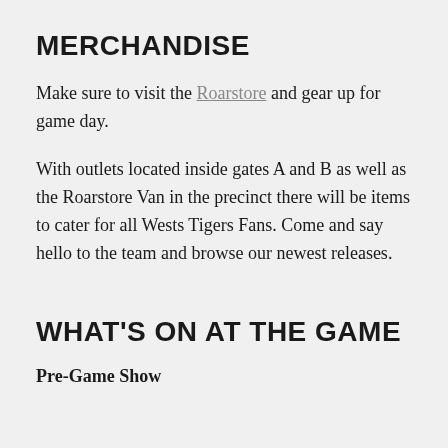MERCHANDISE
Make sure to visit the Roarstore and gear up for game day.
With outlets located inside gates A and B as well as the Roarstore Van in the precinct there will be items to cater for all Wests Tigers Fans. Come and say hello to the team and browse our newest releases.
WHAT'S ON AT THE GAME
Pre-Game Show